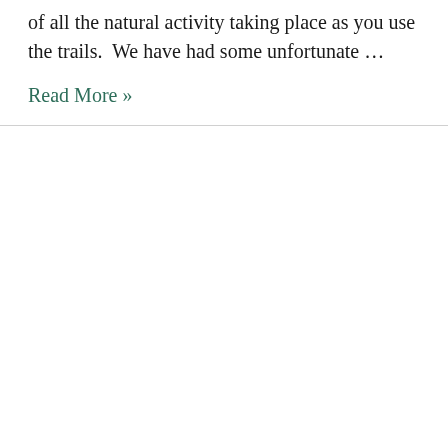of all the natural activity taking place as you use the trails.  We have had some unfortunate …
Read More »